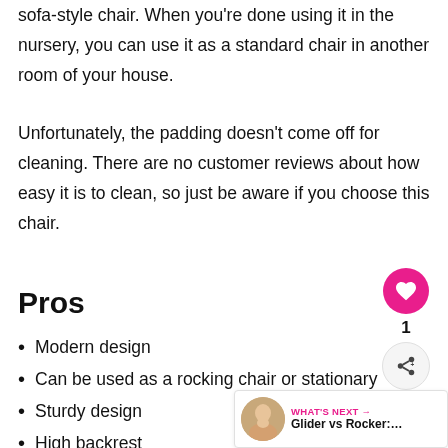sofa-style chair. When you're done using it in the nursery, you can use it as a standard chair in another room of your house.
Unfortunately, the padding doesn't come off for cleaning. There are no customer reviews about how easy it is to clean, so just be aware if you choose this chair.
Pros
Modern design
Can be used as a rocking chair or stationary
Sturdy design
High backrest